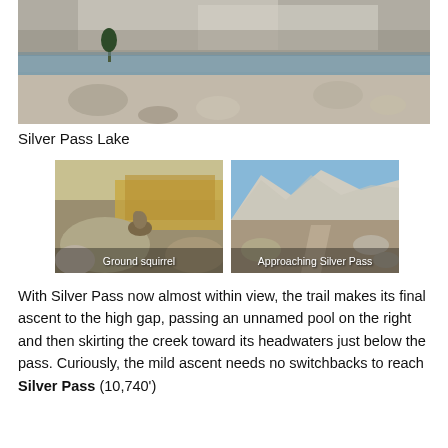[Figure (photo): Panoramic photo of Silver Pass Lake showing a rocky shoreline, calm mountain lake, and steep white granite cliffs in the background with a single tree visible.]
Silver Pass Lake
[Figure (photo): Photo of a ground squirrel sitting on rocks with golden grass in the background. Caption overlay reads 'Ground squirrel'.]
[Figure (photo): Photo of a mountain trail approaching Silver Pass, showing granite peaks and boulders. Caption overlay reads 'Approaching Silver Pass'.]
With Silver Pass now almost within view, the trail makes its final ascent to the high gap, passing an unnamed pool on the right and then skirting the creek toward its headwaters just below the pass. Curiously, the mild ascent needs no switchbacks to reach Silver Pass (10,740')